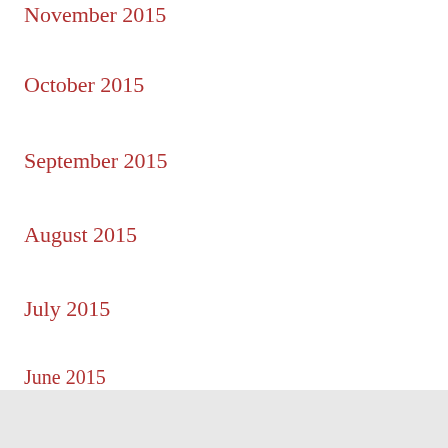November 2015
October 2015
September 2015
August 2015
July 2015
June 2015
Categories
All
RSS Feed